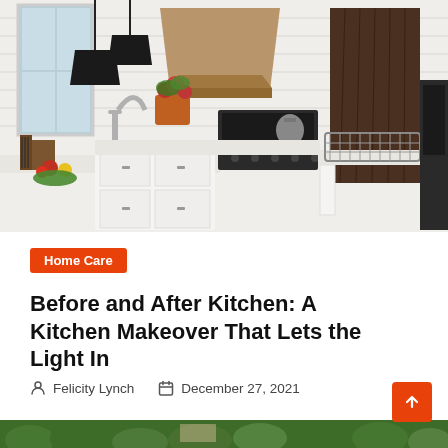[Figure (photo): Bright white farmhouse kitchen interior with shiplap walls, a wooden range hood, dark wood accent panel, industrial pendant lights, white cabinetry, marble countertops, stainless appliances, potted flowers, and a wire basket tray on the island.]
Home Care
Before and After Kitchen: A Kitchen Makeover That Lets the Light In
Felicity Lynch   December 27, 2021
[Figure (photo): Partial view of green outdoor garden scene at the bottom of the page.]